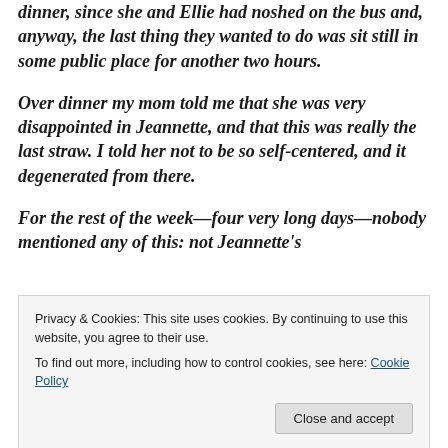dinner, since she and Ellie had noshed on the bus and, anyway, the last thing they wanted to do was sit still in some public place for another two hours.
Over dinner my mom told me that she was very disappointed in Jeannette, and that this was really the last straw. I told her not to be so self-centered, and it degenerated from there.
For the rest of the week—four very long days—nobody mentioned any of this: not Jeannette's
Privacy & Cookies: This site uses cookies. By continuing to use this website, you agree to their use.
To find out more, including how to control cookies, see here: Cookie Policy
Close and accept
hardly all could have been by the same. The